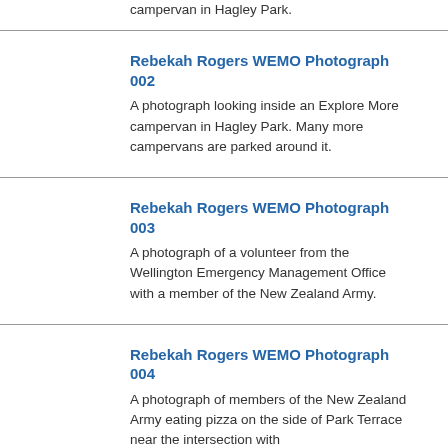campervan in Hagley Park.
Rebekah Rogers WEMO Photograph 002
A photograph looking inside an Explore More campervan in Hagley Park. Many more campervans are parked around it.
Rebekah Rogers WEMO Photograph 003
A photograph of a volunteer from the Wellington Emergency Management Office with a member of the New Zealand Army.
Rebekah Rogers WEMO Photograph 004
A photograph of members of the New Zealand Army eating pizza on the side of Park Terrace near the intersection with